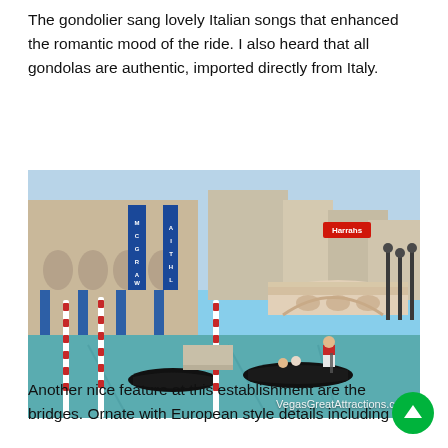The gondolier sang lovely Italian songs that enhanced the romantic mood of the ride. I also heard that all gondolas are authentic, imported directly from Italy.
[Figure (photo): Photo of the Venetian canal at The Venetian Las Vegas resort, showing gondolas on turquoise water, a gondolier in red-striped shirt rowing passengers, ornate white Rialto-style bridge in background, candy-striped mooring poles, Italian-style architecture on left with MCGRAW signage, and Harrah's hotel sign visible in background. Watermark reads VegasGreatAttractions.com]
Another nice feature at this establishment are the bridges. Ornate with European style details including the